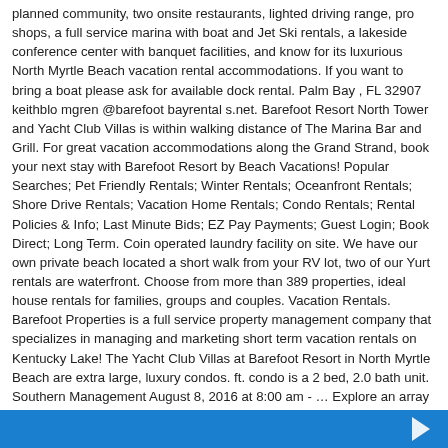planned community, two onsite restaurants, lighted driving range, pro shops, a full service marina with boat and Jet Ski rentals, a lakeside conference center with banquet facilities, and know for its luxurious North Myrtle Beach vacation rental accommodations. If you want to bring a boat please ask for available dock rental. Palm Bay , FL 32907 keithblo mgren @barefoot bayrental s.net. Barefoot Resort North Tower and Yacht Club Villas is within walking distance of The Marina Bar and Grill. For great vacation accommodations along the Grand Strand, book your next stay with Barefoot Resort by Beach Vacations! Popular Searches; Pet Friendly Rentals; Winter Rentals; Oceanfront Rentals; Shore Drive Rentals; Vacation Home Rentals; Condo Rentals; Rental Policies & Info; Last Minute Bids; EZ Pay Payments; Guest Login; Book Direct; Long Term. Coin operated laundry facility on site. We have our own private beach located a short walk from your RV lot, two of our Yurt rentals are waterfront. Choose from more than 389 properties, ideal house rentals for families, groups and couples. Vacation Rentals. Barefoot Properties is a full service property management company that specializes in managing and marketing short term vacation rentals on Kentucky Lake! The Yacht Club Villas at Barefoot Resort in North Myrtle Beach are extra large, luxury condos. ft. condo is a 2 bed, 2.0 bath unit. Southern Management August 8, 2016 at 8:00 am - … Explore an array of Barefoot Resort, North Myrtle Beach vacation rentals, including houses, apartment and condo rentals & more bookable online. St. Pete Beach, FL 33706 Discover Barefoot Resort. View more property details, sales history and Zestimate data on Zillow. feet of pure luxury. 8 Myths About Renting You Should Stop Believing Immediately, 6 Ways Home Buyers Mess Up Getting A Mortgage, 6 Reasons You Should Never Buy Or Sell A Home Without An Agent, Difference Between Agent, Broker & Realtor, Real Estate Agents Reveal the Toughest Home Buyers They've Ever Met, The 5 Maintenance Skills All Homeowners Should Know. Rent a whole home for your next weekend or holiday. View All Rentals; Online Booking; Oceanfront Rentals; Char